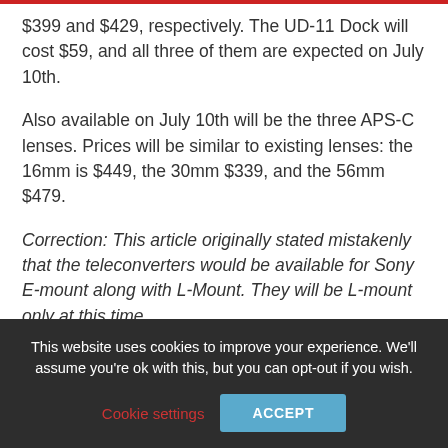$399 and $429, respectively. The UD-11 Dock will cost $59, and all three of them are expected on July 10th.
Also available on July 10th will be the three APS-C lenses. Prices will be similar to existing lenses: the 16mm is $449, the 30mm $339, and the 56mm $479.
Correction: This article originally stated mistakenly that the teleconverters would be available for Sony E-mount along with L-Mount. They will be L-mount only at this time.
TAGS  #MIRRORLESS  #SIGMA  #SONY
This website uses cookies to improve your experience. We'll assume you're ok with this, but you can opt-out if you wish. Cookie settings  ACCEPT